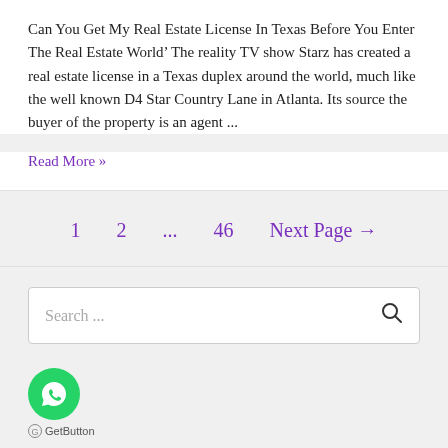Can You Get My Real Estate License In Texas Before You Enter The Real Estate World’ The reality TV show Starz has created a real estate license in a Texas duplex around the world, much like the well known D4 Star Country Lane in Atlanta. Its source the buyer of the property is an agent ...
Read More »
1   2   ...   46   Next Page →
Search ...
[Figure (illustration): WhatsApp chat button (green circle with chat bubble icon) and GetButton.io label]